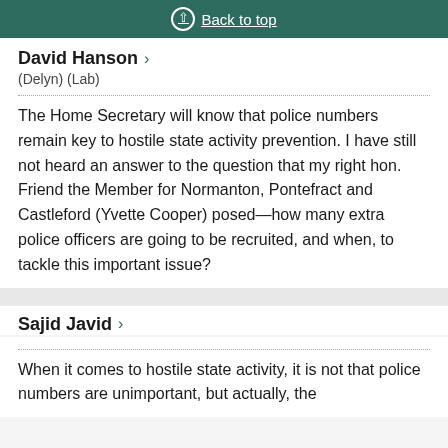Back to top
David Hanson
(Delyn) (Lab)
The Home Secretary will know that police numbers remain key to hostile state activity prevention. I have still not heard an answer to the question that my right hon. Friend the Member for Normanton, Pontefract and Castleford (Yvette Cooper) posed—how many extra police officers are going to be recruited, and when, to tackle this important issue?
Sajid Javid
When it comes to hostile state activity, it is not that police numbers are unimportant, but actually, the